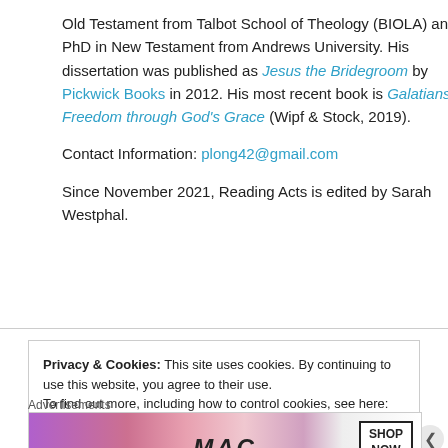Old Testament from Talbot School of Theology (BIOLA) and a PhD in New Testament from Andrews University. His dissertation was published as Jesus the Bridegroom by Pickwick Books in 2012. His most recent book is Galatians: Freedom through God's Grace (Wipf & Stock, 2019).
Contact Information: plong42@gmail.com
Since November 2021, Reading Acts is edited by Sarah Westphal.
Privacy & Cookies: This site uses cookies. By continuing to use this website, you agree to their use.
To find out more, including how to control cookies, see here: Cookie Policy
Close and accept
Advertisements
[Figure (photo): MAC cosmetics advertisement showing lipsticks in purple, pink and red colors with MAC logo and SHOP NOW text in a box.]